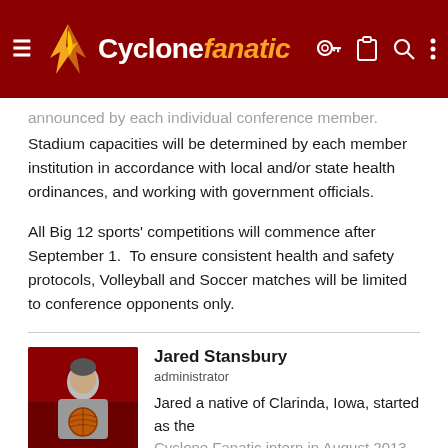Cyclonefanatic
announced by each individual conference member. Stadium capacities will be determined by each member institution in accordance with local and/or state health ordinances, and working with government officials.
All Big 12 sports' competitions will commence after September 1.  To ensure consistent health and safety protocols, Volleyball and Soccer matches will be limited to conference opponents only.
Jared Stansbury
administrator
Jared a native of Clarinda, Iowa, started as the Cyclone Fanatic intern in August 2013, primarily
[Figure (photo): Photo of Jared Stansbury, a man holding a basketball in what appears to be a gym or arena setting with red seats in background]